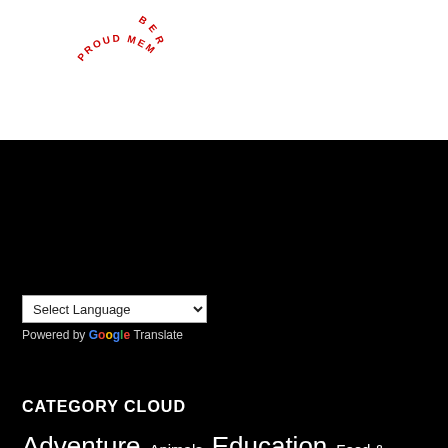[Figure (logo): Circular red arc text reading 'PROUD MEMBER' around the top of a badge/seal logo]
Select Language (dropdown) | Powered by Google Translate
CATEGORY CLOUD
Adventure Animals Education Food & Beverage Gadgets Gardening Hate Medical Mobile Money Motorcycle Movies Music Nostalgia Rant Satire Technology Travel TV Shows Video Games Weather Work
ARCHIVE